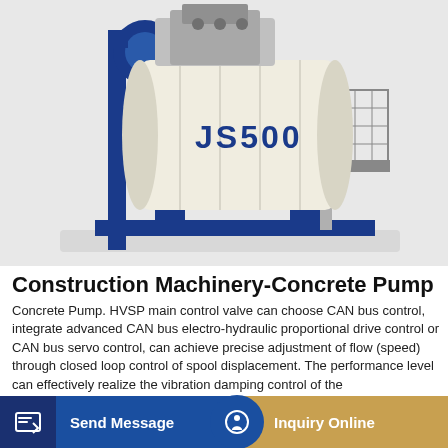[Figure (photo): JS500 concrete mixer machine on blue metal frame, cream/beige cylindrical drum with JS500 label in blue letters, industrial construction machinery against light grey background]
Construction Machinery-Concrete Pump
Concrete Pump. HVSP main control valve can choose CAN bus control, integrate advanced CAN bus electro-hydraulic proportional drive control or CAN bus servo control, can achieve precise adjustment of flow (speed) through closed loop control of spool displacement. The performance level can effectively realize the vibration damping control of the
[Figure (other): GET A QUOTE button in blue]
[Figure (photo): Concrete pump machinery with CONCRETE PUMP text visible, partial view, and adjacent white equipment]
[Figure (other): Send Message button and Inquiry Online button at bottom of page]